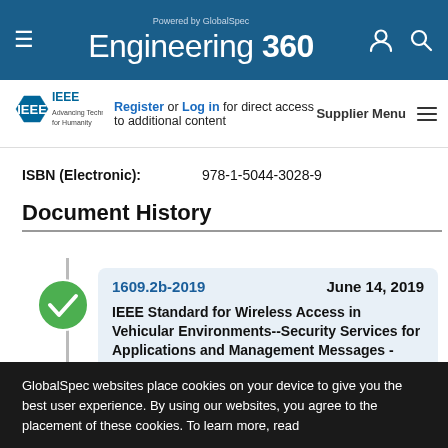Powered by GlobalSpec Engineering 360
[Figure (logo): IEEE Advancing Technology for Humanity logo]
Register or Log in for direct access to additional content   Supplier Menu
ISBN (Electronic):   978-1-5044-3028-9
Document History
1609.2b-2019   June 14, 2019
IEEE Standard for Wireless Access in Vehicular Environments--Security Services for Applications and Management Messages - Amendment 2--PDU Functional Types and Encryption Key Management
GlobalSpec websites place cookies on your device to give you the best user experience. By using our websites, you agree to the placement of these cookies. To learn more, read